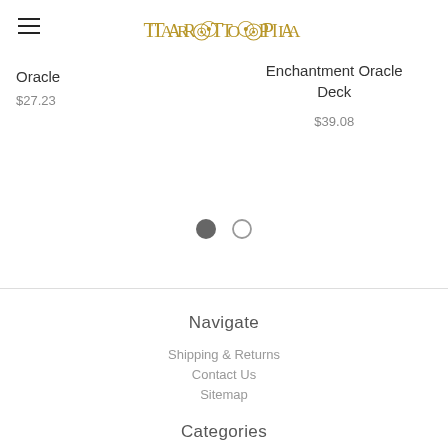Tarotopia
Oracle
$27.23
Enchantment Oracle Deck
$39.08
[Figure (other): Pagination dots: one filled dark circle and one empty circle]
Navigate
Shipping & Returns
Contact Us
Sitemap
Categories